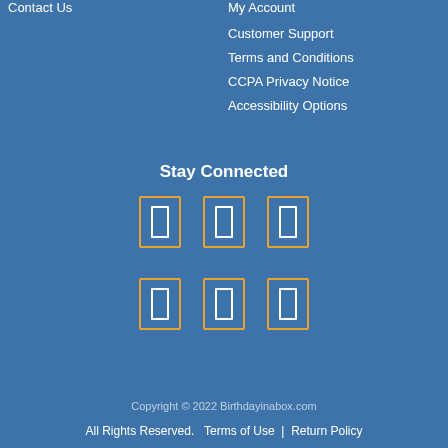Contact Us
My Account
Customer Support
Terms and Conditions
CCPA Privacy Notice
Accessibility Options
Stay Connected
[Figure (illustration): Six social media icon placeholders arranged in two rows of three, each shown as an orange-bordered rectangle with a white inner rectangle]
Copyright © 2022 Birthdayinabox.com
All Rights Reserved.   Terms of Use   |   Return Policy